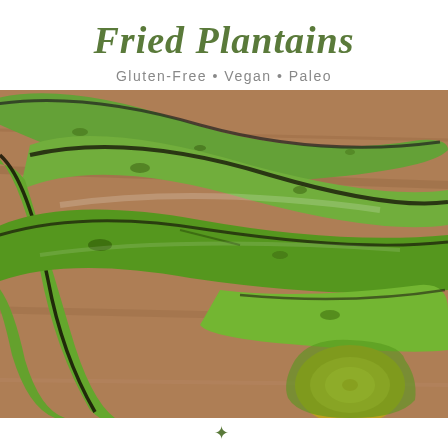Fried Plantains
Gluten-Free · Vegan · Paleo
[Figure (photo): Close-up photo of several green unripe plantains stacked on a wooden cutting board, showing dark streaks and spots on the green skin.]
✿